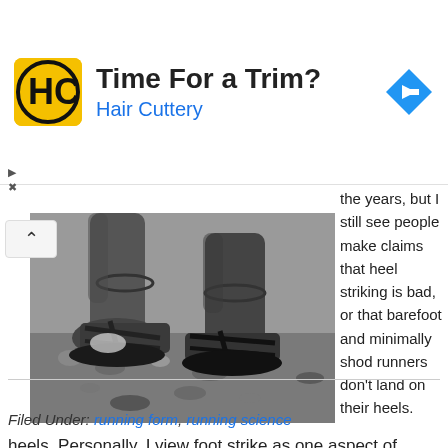[Figure (other): Hair Cuttery advertisement banner with logo (HC in yellow square), title 'Time For a Trim?', subtitle 'Hair Cuttery', and a blue diamond navigation arrow icon]
[Figure (photo): Black and white photograph of feet wearing sandals, appearing to be in motion on a rocky surface]
the years, but I still see people make claims that heel striking is bad, or that barefoot and minimally shod runners don't land on their heels.
Personally, I view foot strike as one aspect of running form that varies with a range of factors. These factors [...]
Filed Under: running form, running science